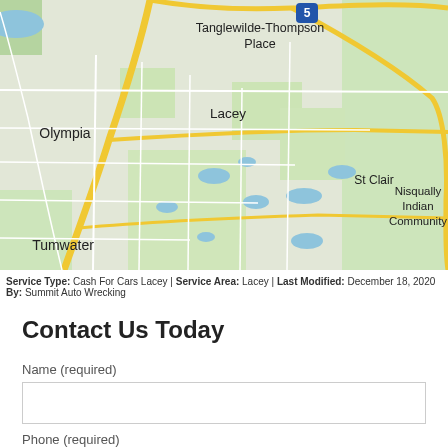[Figure (map): Google Maps view showing Olympia, Lacey, Tumwater, Tanglewilde-Thompson Place, St Clair, Nisqually Indian Community, Kellys Korner, and East Olympia area in Washington State. Route 5 and Route 510 are visible.]
Service Type: Cash For Cars Lacey | Service Area: Lacey | Last Modified: December 18, 2020 By: Summit Auto Wrecking
Contact Us Today
Name (required)
Phone (required)